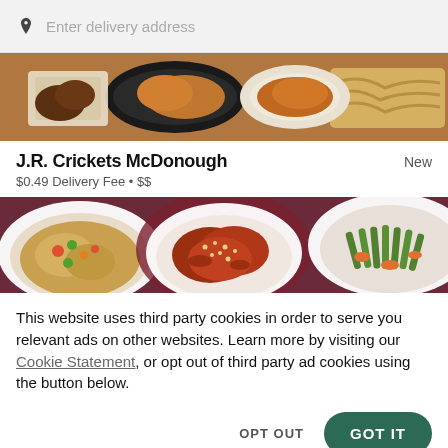Enter delivery address
[Figure (photo): Overhead view of various food dishes including fried chicken, noodles, and other items on a wooden surface]
J.R. Crickets McDonough
New
$0.49 Delivery Fee • $$
[Figure (photo): Three plates of food: fried rice with vegetables, glazed chicken with sesame seeds, and green beans with carrots on dark purple background]
This website uses third party cookies in order to serve you relevant ads on other websites. Learn more by visiting our Cookie Statement, or opt out of third party ad cookies using the button below.
OPT OUT
GOT IT